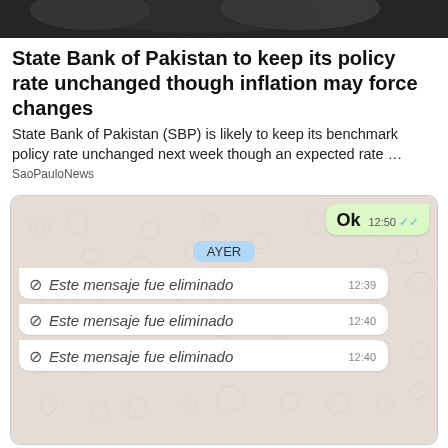[Figure (photo): Dark header image, partial view of people]
State Bank of Pakistan to keep its policy rate unchanged though inflation may force changes
State Bank of Pakistan (SBP) is likely to keep its benchmark policy rate unchanged next week though an expected rate …
SaoPauloNews
[Figure (screenshot): WhatsApp chat screenshot showing: 'Ok' message at 12:50 with blue double checkmarks, date badge 'AYER', and three deleted messages '🚫 Este mensaje fue eliminado' at 12:39, 12:40, 12:40]
That way you can still find out what the other